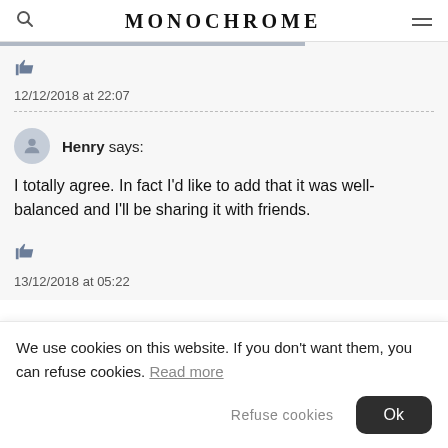MONOCHROME
12/12/2018 at 22:07
Henry says:
I totally agree. In fact I'd like to add that it was well-balanced and I'll be sharing it with friends.
13/12/2018 at 05:22
We use cookies on this website. If you don't want them, you can refuse cookies. Read more